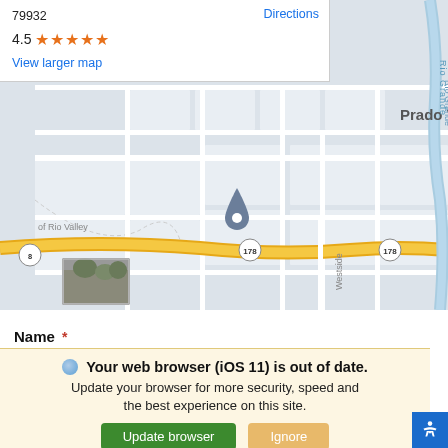[Figure (screenshot): Google Maps screenshot showing Prado Verde area near Rio Valley with a location pin, streets including Westside road, highway 178, and neighborhood labels VALLEY CREEK NORTH. A street view thumbnail is visible at bottom left.]
79932
4.5 ★★★★★
View larger map
Directions
Name *
🌐 Your web browser (iOS 11) is out of date.
Update your browser for more security, speed and the best experience on this site.
[Update browser] [Ignore]